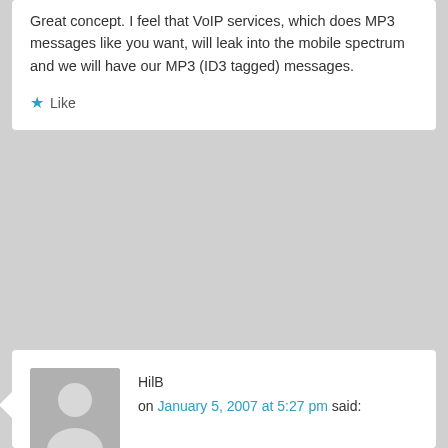Great concept. I feel that VoIP services, which does MP3 messages like you want, will leak into the mobile spectrum and we will have our MP3 (ID3 tagged) messages.
★ Like
HilB
on January 5, 2007 at 5:27 pm said:
I finally found you guys! Whew! There is nothing I hate (and I never use that word lightly) more than checking my voicemail. It makes my skin crawl. I would go into my details about how it affects me but i don't want to get worked up right now. My friends and family can't stand it but who wants to check voicemail when there's 26 new messages that are a month old? I almost stroke out every time I have to check them. And I know how to skip through them and delete them immediately. I've been doing it for ten years. Is yonage the